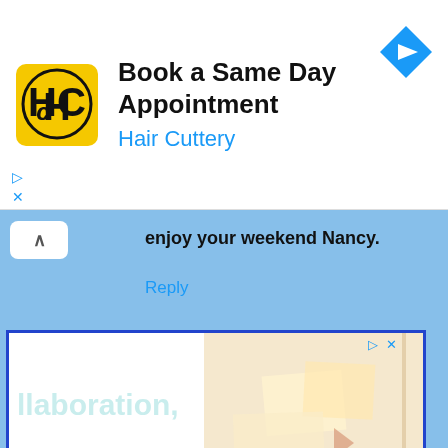[Figure (other): Hair Cuttery ad banner with logo, title 'Book a Same Day Appointment', brand name 'Hair Cuttery', and navigation icon]
enjoy your weekend Nancy.
Reply
[Figure (other): Embedded advertisement with text 'llaboration,' and photo of hands writing/posting sticky notes on a board, with warm beige tone]